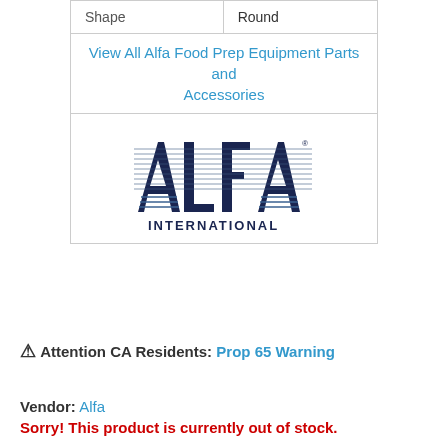| Shape | Round |
| View All Alfa Food Prep Equipment Parts and Accessories |  |
| [Alfa International Logo] |  |
⚠ Attention CA Residents: Prop 65 Warning
Vendor: Alfa
Sorry! This product is currently out of stock.